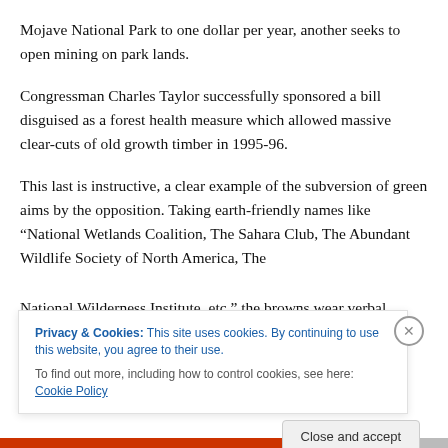Mojave National Park to one dollar per year, another seeks to open mining on park lands.
Congressman Charles Taylor successfully sponsored a bill disguised as a forest health measure which allowed massive clear-cuts of old growth timber in 1995-96.
This last is instructive, a clear example of the subversion of green aims by the opposition. Taking earth-friendly names like “National Wetlands Coalition, The Sahara Club, The Abundant Wildlife Society of North America, The National Wilderness Institute, etc.” the browns wear verbal
Privacy & Cookies: This site uses cookies. By continuing to use this website, you agree to their use.
To find out more, including how to control cookies, see here: Cookie Policy